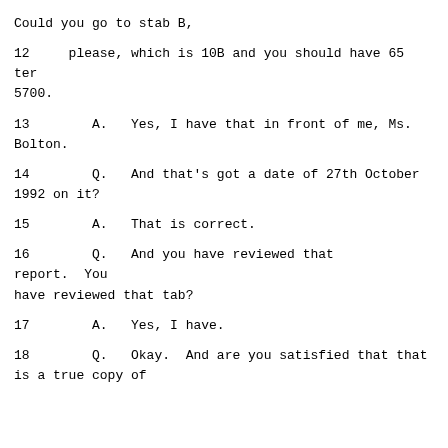Could you go to stab B,
12     please, which is 10B and you should have 65 ter 5700.
13        A.   Yes, I have that in front of me, Ms. Bolton.
14        Q.   And that's got a date of 27th October 1992 on it?
15        A.   That is correct.
16        Q.   And you have reviewed that report.  You have reviewed that tab?
17        A.   Yes, I have.
18        Q.   Okay.  And are you satisfied that that is a true copy of